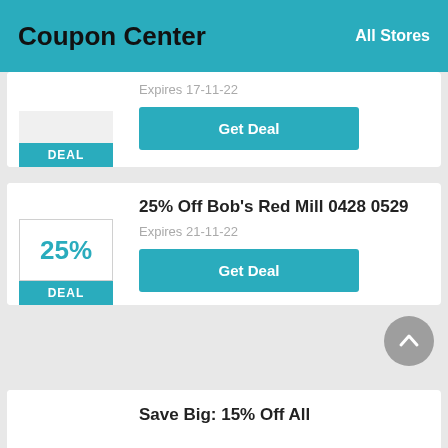Coupon Center   All Stores
Expires 17-11-22
DEAL
Get Deal
25% Off Bob's Red Mill 0428 0529
25%
DEAL
Expires 21-11-22
Get Deal
Save Big: 15% Off All